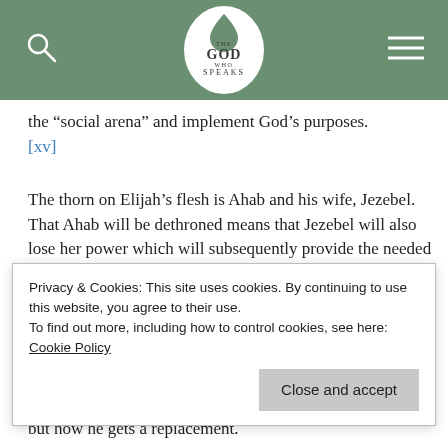The God Who Speaks
the “social arena” and implement God’s purposes. [xv]
The thorn on Elijah’s flesh is Ahab and his wife, Jezebel. That Ahab will be dethroned means that Jezebel will also lose her power which will subsequently provide the needed safety for Elijah and the other prophets to address the complaint of the absence of God’s divine…
but how he gets a replacement.
Privacy & Cookies: This site uses cookies. By continuing to use this website, you agree to their use.
To find out more, including how to control cookies, see here: Cookie Policy